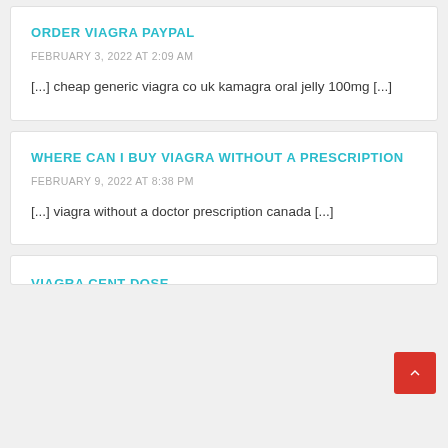ORDER VIAGRA PAYPAL
FEBRUARY 3, 2022 AT 2:09 AM
[...] cheap generic viagra co uk kamagra oral jelly 100mg [...]
WHERE CAN I BUY VIAGRA WITHOUT A PRESCRIPTION
FEBRUARY 9, 2022 AT 8:38 PM
[...] viagra without a doctor prescription canada [...]
VIAGRA CENT DOSE